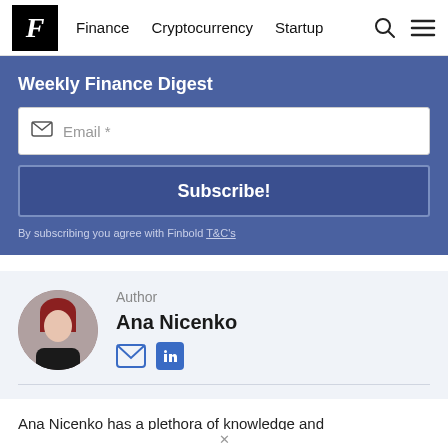F | Finance | Cryptocurrency | Startup
Weekly Finance Digest
Email *
Subscribe!
By subscribing you agree with Finbold T&C's
Author
Ana Nicenko
Ana Nicenko has a plethora of knowledge and